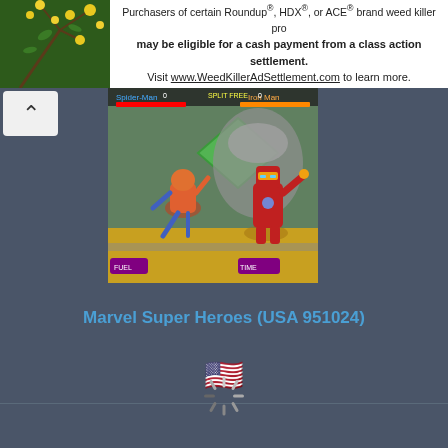[Figure (infographic): Advertisement banner with photo of yellow flowers on left and text about Roundup/HDX/ACE weed killer class action settlement on right]
Purchasers of certain Roundup®, HDX®, or ACE® brand weed killer pro may be eligible for a cash payment from a class action settlement. Visit www.WeedKillerAdSettlement.com to learn more.
[Figure (screenshot): Marvel Super Heroes arcade game screenshot showing Spider-Man and Iron Man fighting in a futuristic arena]
Marvel Super Heroes (USA 951024)
[Figure (illustration): USA flag emoji]
[Figure (infographic): Loading spinner icon]